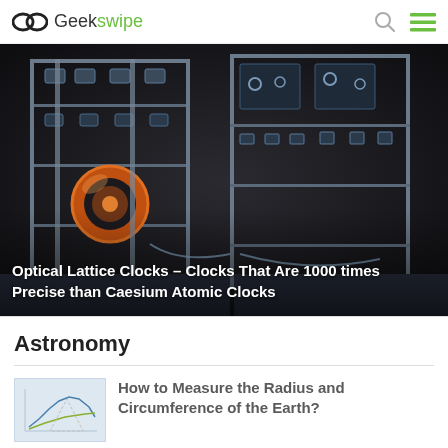Geekswipe
[Figure (photo): Laboratory equipment showing optical lattice clock apparatus with metal frames, optical components, and electronic modules in a dark laboratory setting]
Optical Lattice Clocks – Clocks That Are 1000 times Precise than Caesium Atomic Clocks
Astronomy
[Figure (illustration): Thumbnail illustration showing a graph or diagram related to measuring radius and circumference of the Earth]
How to Measure the Radius and Circumference of the Earth?